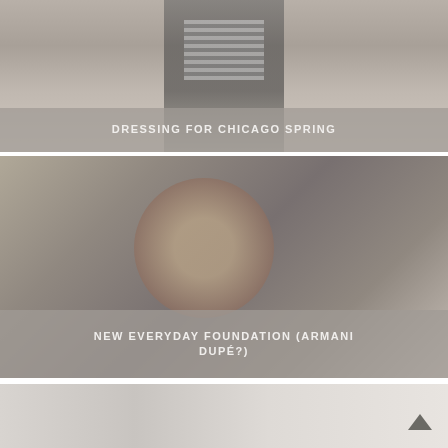[Figure (photo): Person wearing a black leather jacket over a striped shirt, cropped image showing torso/upper body area]
DRESSING FOR CHICAGO SPRING
[Figure (photo): Close-up photo of a person's face, appears to be lying back or reclining, wearing a dark hat]
NEW EVERYDAY FOUNDATION (ARMANI DUPÉ?)
[Figure (photo): Partial photo at the bottom of the page, faded/light colored image, partially cut off]